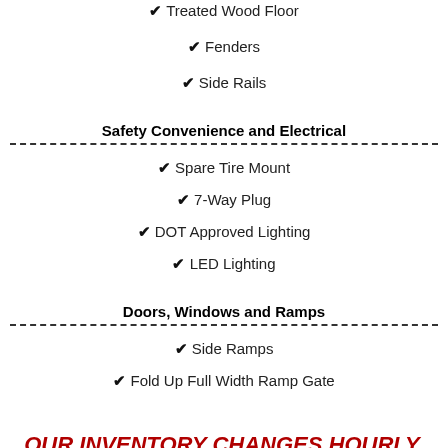✔ Treated Wood Floor
✔ Fenders
✔ Side Rails
Safety Convenience and Electrical
✔ Spare Tire Mount
✔ 7-Way Plug
✔ DOT Approved Lighting
✔ LED Lighting
Doors, Windows and Ramps
✔ Side Ramps
✔ Fold Up Full Width Ramp Gate
OUR INVENTORY CHANGES HOURLY, AND